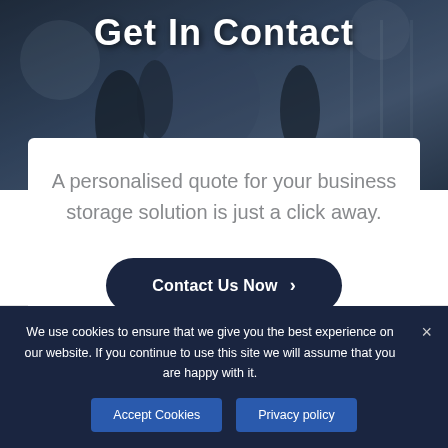[Figure (photo): Hero background showing office workers in a dark blue-tinted meeting room setting]
Get In Contact
A personalised quote for your business storage solution is just a click away.
Contact Us Now >
We use cookies to ensure that we give you the best experience on our website. If you continue to use this site we will assume that you are happy with it.
Accept Cookies
Privacy policy